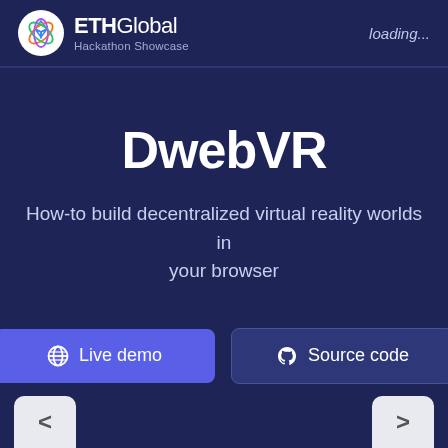ETHGlobal Hackathon Showcase — loading...
DwebVR
How-to build decentralized virtual reality worlds in your browser
Live demo
Source code